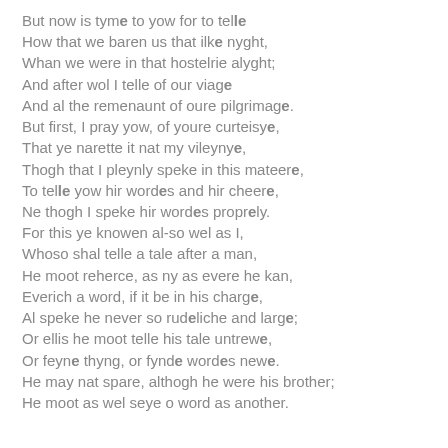But now is tyme to yow for to telle
How that we baren us that ilke nyght,
Whan we were in that hostelrie alyght;
And after wol I telle of our viage
And al the remenaunt of oure pilgrimage.
But first, I pray yow, of youre curteisye,
That ye narette it nat my vileynye,
Thogh that I pleynly speke in this mateere,
To telle yow hir wordes and hir cheere,
Ne thogh I speke hir wordes proprely.
For this ye knowen al-so wel as I,
Whoso shal telle a tale after a man,
He moot reherce, as ny as evere he kan,
Everich a word, if it be in his charge,
Al speke he never so rudeliche and large;
Or ellis he moot telle his tale untrewe,
Or feyne thyng, or fynde wordes newe.
He may nat spare, althogh he were his brother;
He moot as wel seye o word as another.